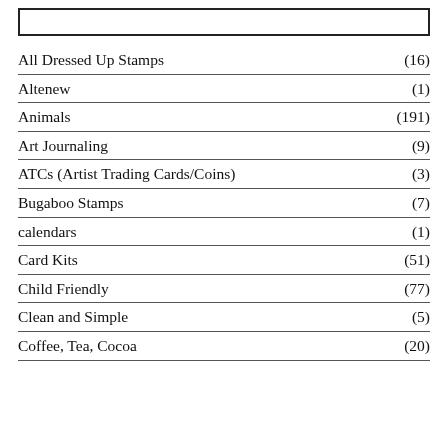[Figure (other): Empty rectangle box at top of page]
All Dressed Up Stamps (16)
Altenew (1)
Animals (191)
Art Journaling (9)
ATCs (Artist Trading Cards/Coins) (3)
Bugaboo Stamps (7)
calendars (1)
Card Kits (51)
Child Friendly (77)
Clean and Simple (5)
Coffee, Tea, Cocoa (20)